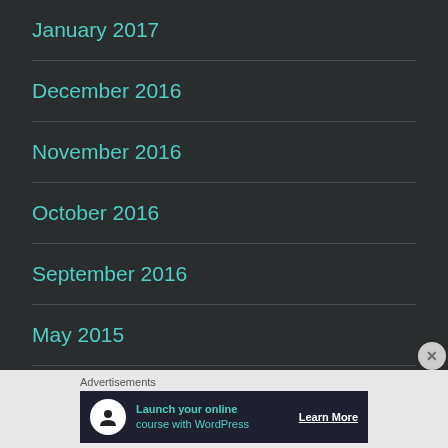January 2017
December 2016
November 2016
October 2016
September 2016
May 2015
February 2015
Advertisements
[Figure (infographic): Advertisement banner: Launch your online course with WordPress — Learn More button. Dark background with teal text and circular icon.]